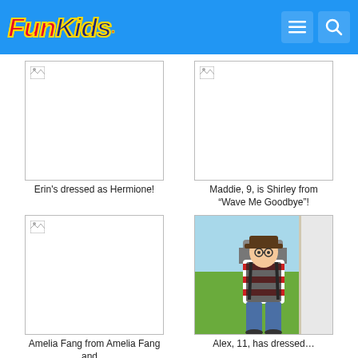Fun Kids
[Figure (photo): Broken image placeholder for Erin dressed as Hermione]
Erin's dressed as Hermione!
[Figure (photo): Broken image placeholder for Maddie aged 9 dressed as Shirley from Wave Me Goodbye]
Maddie, 9, is Shirley from “Wave Me Goodbye”!
[Figure (photo): Broken image placeholder for Amelia Fang costume]
Amelia Fang from Amelia Fang and…
[Figure (photo): Photo of Alex, 11, in a red and white striped shirt with backpack, standing at a doorway outdoors]
Alex, 11, has dressed…